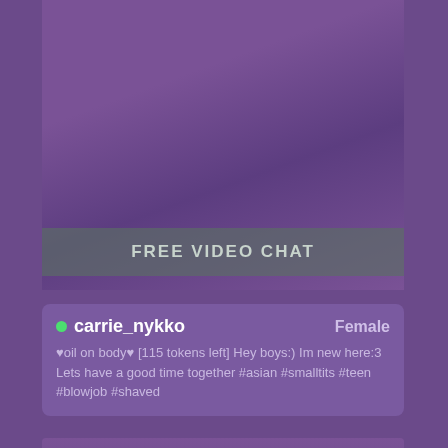[Figure (screenshot): Purple-tinted video chat thumbnail showing upper body content with dark purple overlay]
FREE VIDEO CHAT
carrie_nykko   Female
♥oil on body♥ [115 tokens left] Hey boys:) Im new here:3 Lets have a good time together #asian #smalltits #teen #blowjob #shaved
[Figure (screenshot): Purple-tinted video chat thumbnail showing partial figure with purple overlay at bottom of page]